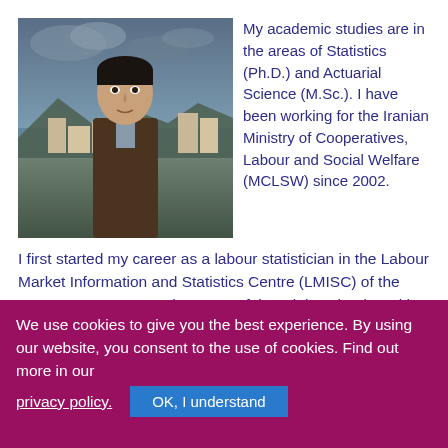[Figure (photo): Portrait photo of a man in a suit standing outdoors with a cityscape and water in the background]
My academic studies are in the areas of Statistics (Ph.D.) and Actuarial Science (M.Sc.). I have been working for the Iranian Ministry of Cooperatives, Labour and Social Welfare (MCLSW) since 2002. I first started my career as a labour statistician in the Labour Market Information and Statistics Centre (LMISC) of the MCLSW. As you see, the name of the Ministry begins with Cooperatives. It is due to the fact that cooperatives have a high standing in Iran. The constitutional law emphasizes the role of cooperatives in the economy. Therefore, I was
We use cookies to give you the best experience. By using our website, you consent to the use of cookies. Find out more in our
privacy policy.
OK, I understand